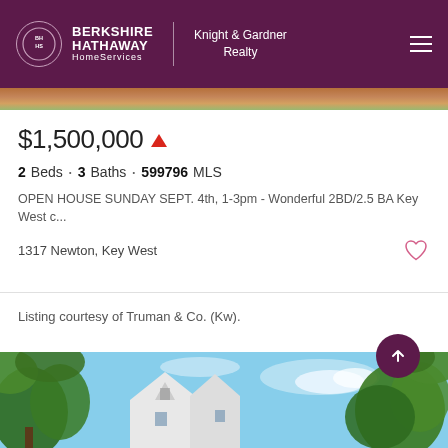[Figure (logo): Berkshire Hathaway HomeServices Knight & Gardner Realty logo on purple header with hamburger menu]
[Figure (photo): Narrow colorful photo strip showing foliage and sky]
$1,500,000
2 Beds · 3 Baths · 599796 MLS
OPEN HOUSE SUNDAY SEPT. 4th, 1-3pm - Wonderful 2BD/2.5 BA Key West c...
1317 Newton, Key West
Listing courtesy of Truman & Co. (Kw).
[Figure (photo): Exterior photo of white Key West style house with metal roof, surrounded by tropical trees against blue sky]